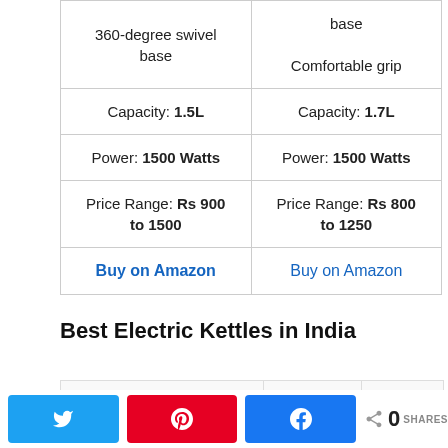| Col1 | Col2 |
| --- | --- |
| 360-degree swivel base | base

Comfortable grip |
| Capacity: 1.5L | Capacity: 1.7L |
| Power: 1500 Watts | Power: 1500 Watts |
| Price Range: Rs 900 to 1500 | Price Range: Rs 800 to 1250 |
| Buy on Amazon | Buy on Amazon |
Best Electric Kettles in India
Twitter share button
Pinterest share button
Facebook share button
0 SHARES